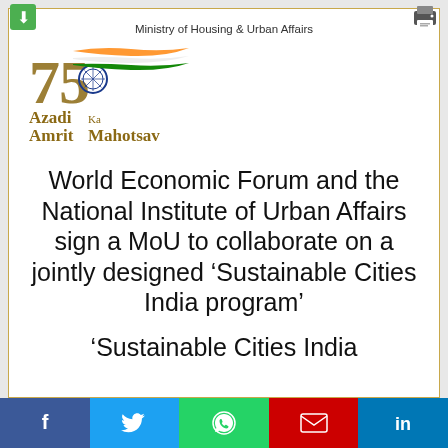Ministry of Housing & Urban Affairs
[Figure (logo): Azadi Ka Amrit Mahotsav logo with 75 years emblem and Indian flag colors]
World Economic Forum and the National Institute of Urban Affairs sign a MoU to collaborate on a jointly designed ‘Sustainable Cities India program’
‘Sustainable Cities India
[Figure (infographic): Social media sharing bar with Facebook, Twitter, WhatsApp, Email, and LinkedIn icons]